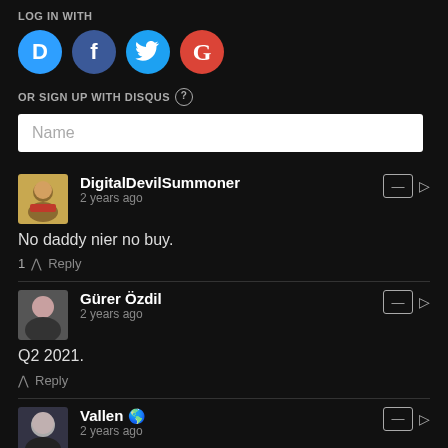LOG IN WITH
[Figure (infographic): Social login buttons: Disqus (blue D), Facebook (blue f), Twitter (blue bird), Google (red G)]
OR SIGN UP WITH DISQUS ?
Name (input field placeholder)
DigitalDevilSummoner · 2 years ago
No daddy nier no buy.
1 ^ Reply
Gürer Özdil · 2 years ago
Q2 2021.
^ Reply
Vallen · 2 years ago
I'm doubtful of a 2020 release due to all the silence on this